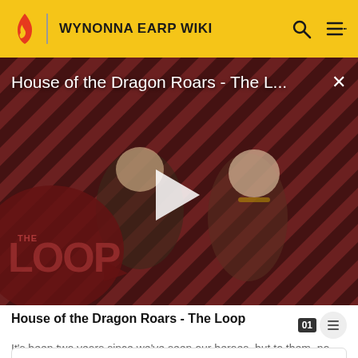WYNONNA EARP WIKI
[Figure (screenshot): Video thumbnail for 'House of the Dragon Roars - The Loop' showing two characters against a red diagonal stripe background with 'THE LOOP' logo overlay and a play button in the center]
House of the Dragon Roars - The Loop
It's been two years since we've seen our heroes, but to them, no time has passed at all.